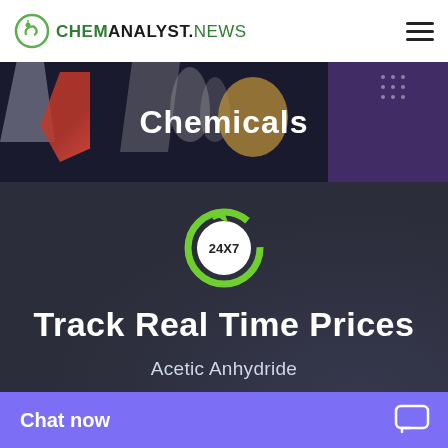CHEMANALYST.NEWS
[Figure (screenshot): Colorful banner with text 'Chemicals' on dark background with decorative human figure illustrations]
[Figure (infographic): 24X7 circular refresh icon on dark background with text 'Track Real Time Prices' and subtitle 'Acetic Anhydride', teal button area, and purple 'Chat now' bar at bottom]